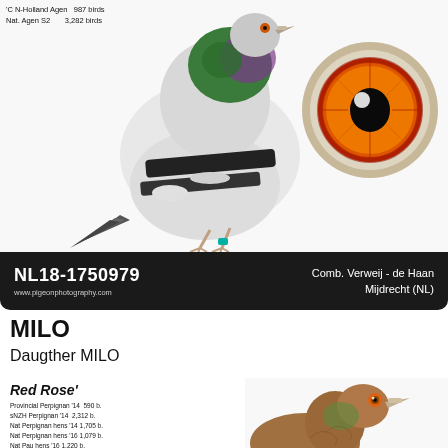'C N-Holland Agen  987 birds
Nat. Agen S2        3,282 birds
[Figure (photo): Racing pigeon (white with black bars and green/purple iridescent neck feathers) standing in profile on white background, with a close-up inset of the pigeon's red-orange eye in upper right]
NL18-1750979
www.pigeonphotography.com
Comb. Verweij - de Haan
Mijdrecht (NL)
MILO
Daugther MILO
Red Rose'
Provincial Perpignan '14  590 b.
NZH Perpignan '14  2,312 b.
Nat Perpignan hens '14 1,705 b.
Nat Perpignan hens '16 1,079 b.
Nat Pau hens '16 1,220 b.
[Figure (photo): Close-up head portrait of a brown/reddish racing pigeon facing right, with orange eye]